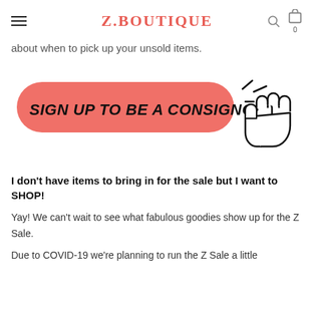Z.BOUTIQUE
about when to pick up your unsold items.
[Figure (illustration): A coral/salmon rounded rectangle button with the text 'SIGN UP TO BE A CONSIGNOR' in bold black italic uppercase letters, with a hand cursor icon with click lines pointing at the button from the right.]
I don't have items to bring in for the sale but I want to SHOP!
Yay! We can't wait to see what fabulous goodies show up for the Z Sale.
Due to COVID-19 we're planning to run the Z Sale a little